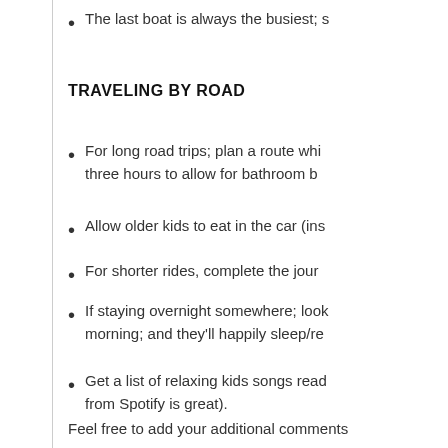The last boat is always the busiest; s
TRAVELING BY ROAD
For long road trips; plan a route whi... three hours to allow for bathroom b
Allow older kids to eat in the car (ins
For shorter rides, complete the jour
If staying overnight somewhere; look morning; and they'll happily sleep/re
Get a list of relaxing kids songs read from Spotify is great).
Feel free to add your additional comments